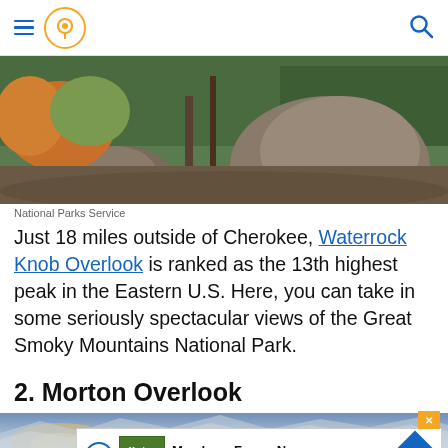Navigation header with hamburger menu, location pin icon, and search icon
[Figure (photo): Rocky outcrop with large boulders and trees on a hillside, forested mountains in background]
National Parks Service
Just 18 miles outside of Cherokee, Waterrock Knob Overlook is ranked as the 13th highest peak in the Eastern U.S. Here, you can take in some seriously spectacular views of the Great Smoky Mountains National Park.
2. Morton Overlook
[Figure (photo): Mountain landscape with misty valleys and sky, partially obscured by advertisement overlay]
[Figure (other): Advertisement overlay for Meadows Farms Nursery with play button, logo, business name, and navigation arrow icon]